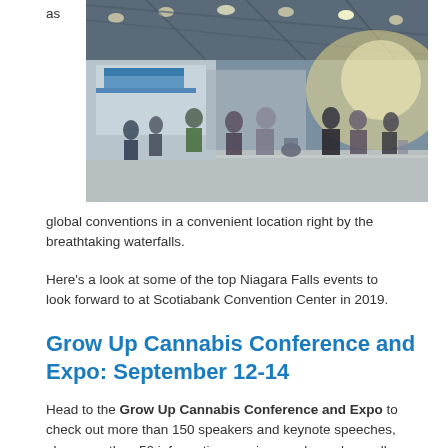as
[Figure (photo): Interior of a large convention hall with many people walking around exhibition booths, bright overhead lights, and a high industrial ceiling.]
global conventions in a convenient location right by the breathtaking waterfalls.
Here's a look at some of the top Niagara Falls events to look forward to at Scotiabank Convention Center in 2019.
Grow Up Cannabis Conference and Expo: September 12-14
Head to the Grow Up Cannabis Conference and Expo to check out more than 150 speakers and keynote speeches, plus more than 50 information sessions and panels on all